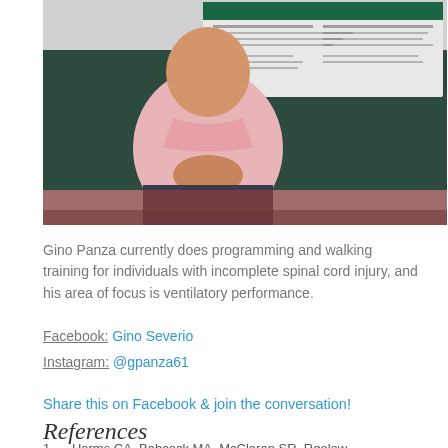[Figure (photo): Person in pink shirt seated in front of a poster display board, hands clasped together]
Gino Panza currently does programming and walking training for individuals with incomplete spinal cord injury, and his area of focus is ventilatory performance.
Facebook: Gino Severio
Instagram: @gpanza61
Share this on Facebook & join the conversation!
References
1.     Harms CA, Babcock MA, McClaran SR, Rgolow